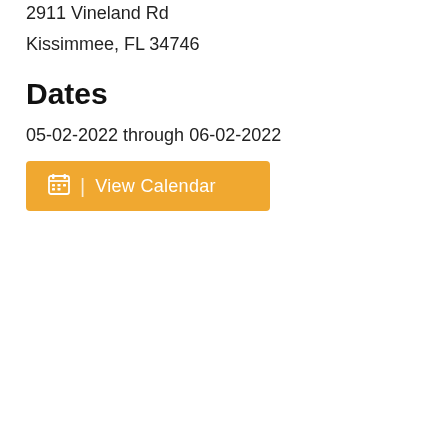2911 Vineland Rd
Kissimmee, FL 34746
Dates
05-02-2022 through 06-02-2022
[Figure (other): Orange button with calendar icon and 'View Calendar' label]